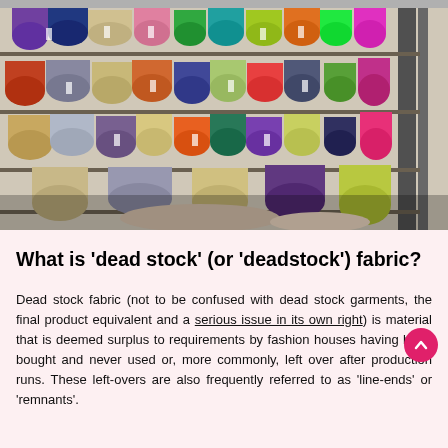[Figure (photo): Photograph of a fabric store with many rolls of colorful fabrics arranged on metal shelving racks. Fabrics include various colors such as purple, pink, green, orange, tan, black, and more, each rolled and stacked horizontally with price tags hanging from them.]
What is 'dead stock' (or 'deadstock') fabric?
Dead stock fabric (not to be confused with dead stock garments, the final product equivalent and a serious issue in its own right) is material that is deemed surplus to requirements by fashion houses having been bought and never used or, more commonly, left over after production runs. These left-overs are also frequently referred to as 'line-ends' or 'remnants'.